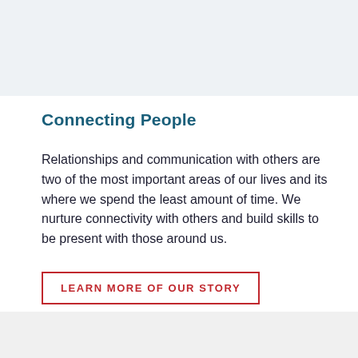Connecting People
Relationships and communication with others are two of the most important areas of our lives and its where we spend the least amount of time. We nurture connectivity with others and build skills to be present with those around us.
LEARN MORE OF OUR STORY